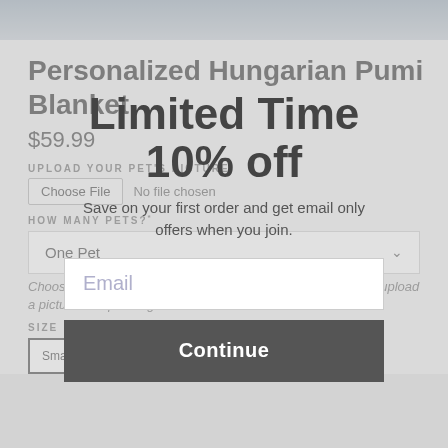[Figure (photo): Top portion of a product image, showing a blanket or similar product, cropped]
Personalized Hungarian Pumi Blanket
$59.99
UPLOAD YOUR PET'S PICTURE
Choose File  No file chosen
HOW MANY PETS?
One Pet
Choose this option to add additional pets to your order. Then upload a picture with pets together.
SIZE
Small (49"x39")
Medium (60"x58")
[Figure (screenshot): Modal overlay popup with 'Limited Time 10% off' promotion, email signup field, and Continue button]
Limited Time
10% off
Save on your first order and get email only offers when you join.
Email
Continue